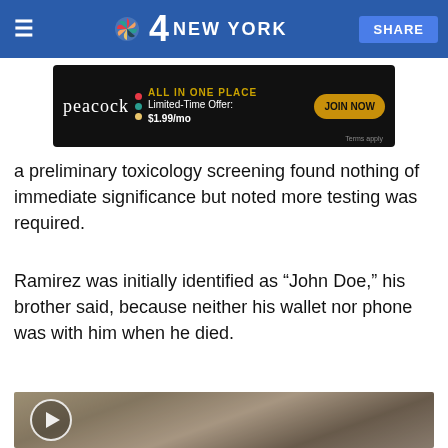4 NBC NEW YORK  SHARE
[Figure (screenshot): Peacock advertisement banner: ALL IN ONE PLACE Limited-Time Offer: $1.99/mo JOIN NOW Terms apply]
a preliminary toxicology screening found nothing of immediate significance but noted more testing was required.
Ramirez was initially identified as “John Doe,” his brother said, because neither his wallet nor phone was with him when he died.
[Figure (photo): Video thumbnail showing an elderly woman with light hair, looking distressed, with a play button icon overlay]